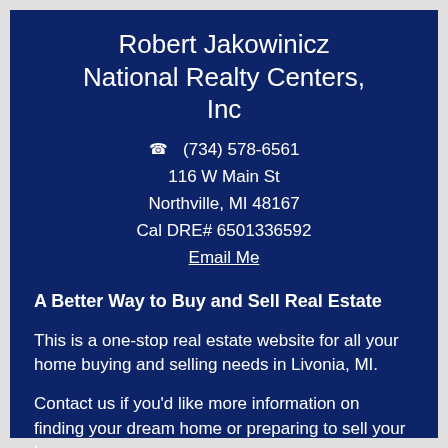Robert Jakowinicz
National Realty Centers, Inc
☎ (734) 578-6561
116 W Main St
Northville, MI 48167
Cal DRE# 6501336592
Email Me
A Better Way to Buy and Sell Real Estate
This is a one-stop real estate website for all your home buying and selling needs in Livonia, MI.
Contact us if you'd like more information on finding your dream home or preparing to sell your home.